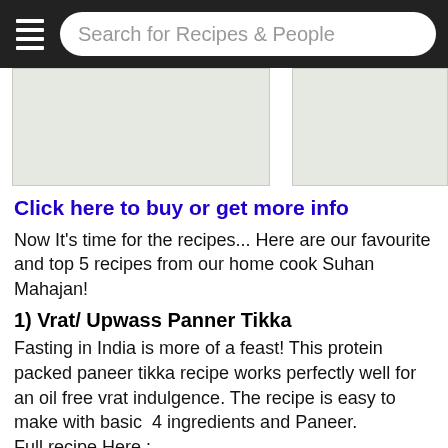Search for Recipes & People
[Figure (photo): Two light-colored food/recipe images side by side]
Click here to buy or get more info
Now It's time for the recipes... Here are our favourite and top 5 recipes from our home cook Suhan Mahajan!
1) Vrat/ Upwass Panner Tikka
Fasting in India is more of a feast! This protein packed paneer tikka recipe works perfectly well for an oil free vrat indulgence. The recipe is easy to make with basic  4 ingredients and Paneer.
Full recipe Here :
http://secretindianrecipe.com/recipe/upwass-panner-tikka